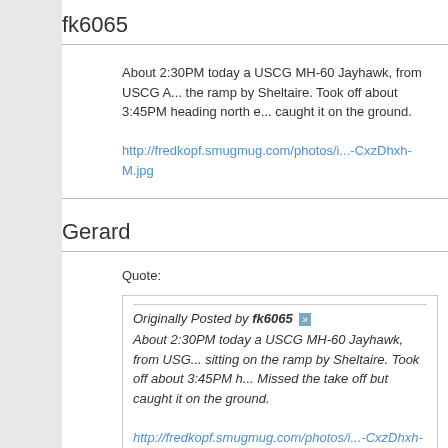fk6065
About 2:30PM today a USCG MH-60 Jayhawk, from USCG A... the ramp by Sheltaire. Took off about 3:45PM heading north e... caught it on the ground.
http://fredkopf.smugmug.com/photos/i...-CxzDhxh-M.jpg
Gerard
Quote:
Originally Posted by fk6065
About 2:30PM today a USCG MH-60 Jayhawk, from USG... sitting on the ramp by Sheltaire. Took off about 3:45PM h... Missed the take off but caught it on the ground.
http://fredkopf.smugmug.com/photos/i...-CxzDhxh-M.jpg
It was around 3:20 when they left. I was sitting in the lot off 1-... they took off into the wind (gusting up to almost 40MPH) then